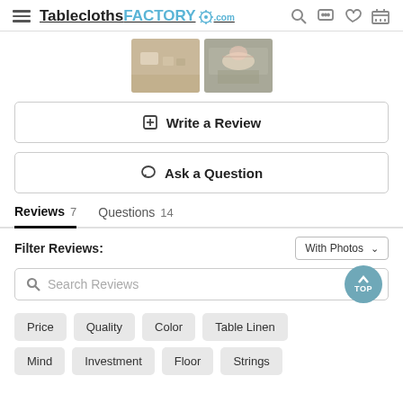TableclothsFACTORY.com
[Figure (photo): Two product thumbnail photos showing table settings with tablecloths]
✏ Write a Review
💬 Ask a Question
Reviews 7    Questions 14
Filter Reviews:
With Photos ∨
Search Reviews
Price
Quality
Color
Table Linen
Mind
Investment
Floor
Strings